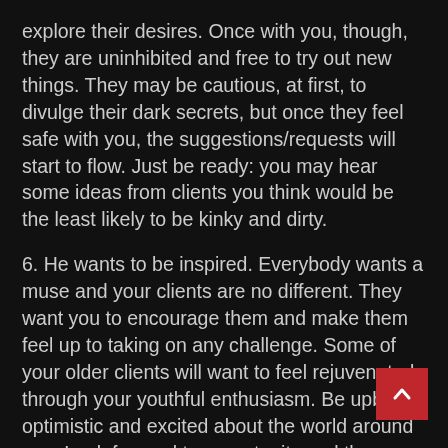explore their desires. Once with you, though, they are uninhibited and free to try out new things. They may be cautious, at first, to divulge their dark secrets, but once they feel safe with you, the suggestions/requests will start to flow. Just be ready: you may hear some ideas from clients you think would be the least likely to be kinky and dirty.
6. He wants to be inspired. Everybody wants a muse and your clients are no different. They want you to encourage them and make them feel up to taking on any challenge. Some of your older clients will want to feel rejuvenated through your youthful enthusiasm. Be upbeat, optimistic and excited about the world around you. Look forward to opportunity and the future. And, allow your client to gain hopefulness through your contagious good attitude. In a world filled with negativity and bad news, you need to be a breath